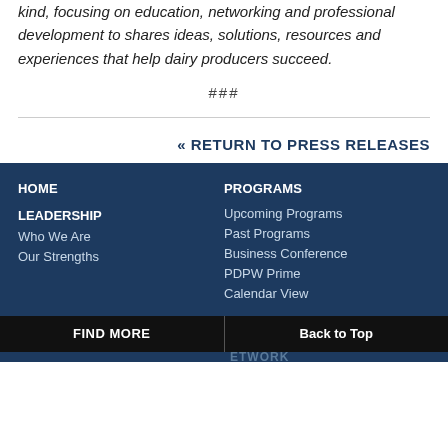kind, focusing on education, networking and professional development to shares ideas, solutions, resources and experiences that help dairy producers succeed.
###
« RETURN TO PRESS RELEASES
HOME
LEADERSHIP
Who We Are
Our Strengths
PROGRAMS
Upcoming Programs
Past Programs
Business Conference
PDPW Prime
Calendar View
FIND MORE | Back to Top | ETWORK